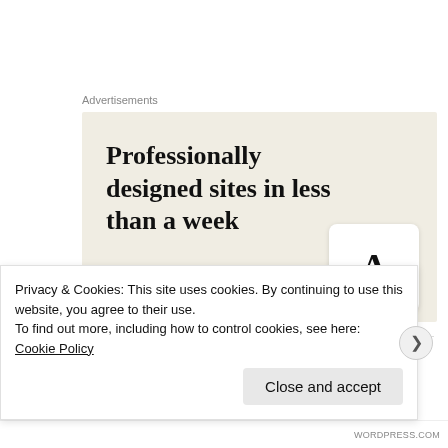Advertisements
[Figure (illustration): Advertisement banner with beige background showing text 'Professionally designed sites in less than a week' with a green button and a card showing the letter A]
Nice piece of work
Privacy & Cookies: This site uses cookies. By continuing to use this website, you agree to their use. To find out more, including how to control cookies, see here: Cookie Policy
Close and accept